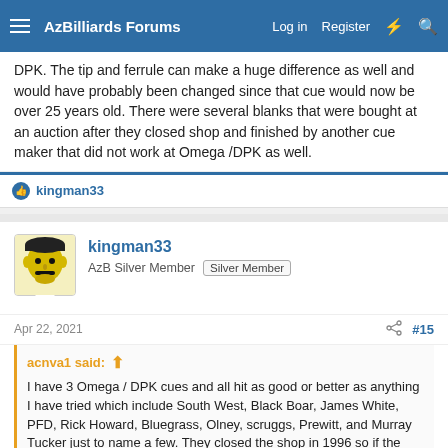AzBilliards Forums | Log in | Register
DPK. The tip and ferrule can make a huge difference as well and would have probably been changed since that cue would now be over 25 years old. There were several blanks that were bought at an auction after they closed shop and finished by another cue maker that did not work at Omega /DPK as well.
kingman33
kingman33
AzB Silver Member  Silver Member
Apr 22, 2021	#15
acnva1 said:
I have 3 Omega / DPK cues and all hit as good or better as anything I have tried which include South West, Black Boar, James White, PFD, Rick Howard, Bluegrass, Olney, scruggs, Prewitt, and Murray Tucker just to name a few. They closed the shop in 1996 so if the shafts are still 13mm then they might not be original. I have original shafts and